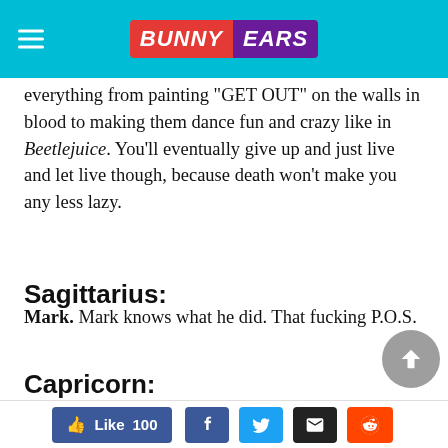Bunny Ears
everything from painting “GET OUT” on the walls in blood to making them dance fun and crazy like in Beetlejuice. You’ll eventually give up and just live and let live though, because death won’t make you any less lazy.
Sagittarius:
Mark. Mark knows what he did. That fucking P.O.S.
Capricorn:
The Guy Who Planned Your Murder And Then Tried